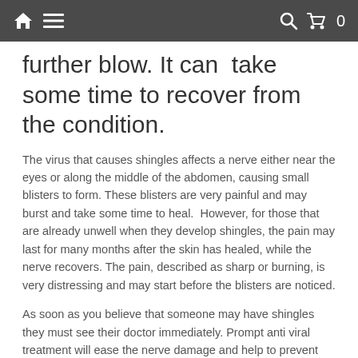Home  Menu  Search  Cart 0
further blow. It can take some time to recover from the condition.
The virus that causes shingles affects a nerve either near the eyes or along the middle of the abdomen, causing small blisters to form. These blisters are very painful and may burst and take some time to heal.  However, for those that are already unwell when they develop shingles, the pain may last for many months after the skin has healed, while the nerve recovers. The pain, described as sharp or burning, is very distressing and may start before the blisters are noticed.
As soon as you believe that someone may have shingles they must see their doctor immediately. Prompt anti viral treatment will ease the nerve damage and help to prevent the pain lasting for as long. Effective shingles treatments are available from your doctor and must be taken for the full course of treatment.
Once shingles has been diagnosed it is important to start